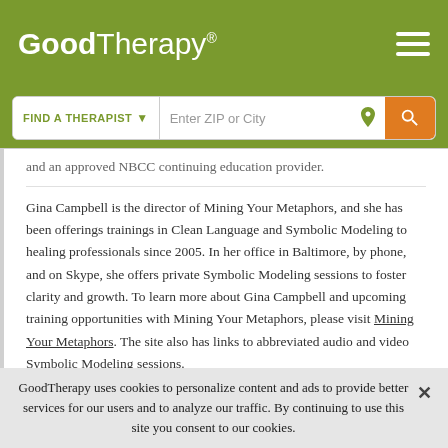GoodTherapy®
[Figure (screenshot): GoodTherapy website header with logo, hamburger menu, and search bar with FIND A THERAPIST dropdown and Enter ZIP or City input]
and an approved NBCC continuing education provider.
Gina Campbell is the director of Mining Your Metaphors, and she has been offerings trainings in Clean Language and Symbolic Modeling to healing professionals since 2005. In her office in Baltimore, by phone, and on Skype, she offers private Symbolic Modeling sessions to foster clarity and growth. To learn more about Gina Campbell and upcoming training opportunities with Mining Your Metaphors, please visit Mining Your Metaphors. The site also has links to abbreviated audio and video Symbolic Modeling sessions.
GoodTherapy uses cookies to personalize content and ads to provide better services for our users and to analyze our traffic. By continuing to use this site you consent to our cookies.